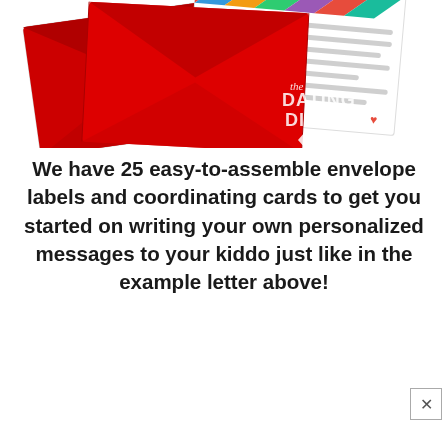[Figure (photo): Photo of colorful envelope labels and coordinating cards, with red envelopes and decorative geometric patterns, featuring The Dating Divas branding logo in the lower right]
We have 25 easy-to-assemble envelope labels and coordinating cards to get you started on writing your own personalized messages to your kiddo just like in the example letter above!